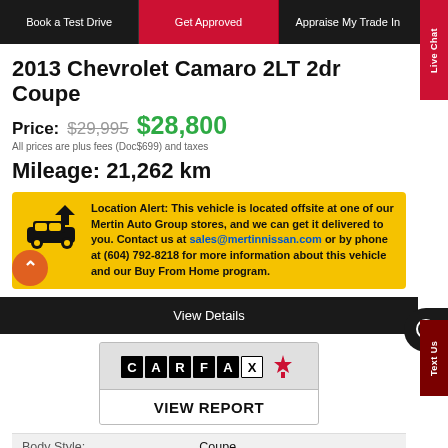Book a Test Drive | Get Approved | Appraise My Trade In
2013 Chevrolet Camaro 2LT 2dr Coupe
Price: $29,995 $28,800
All prices are plus fees (Doc$699) and taxes
Mileage: 21,262 km
Location Alert: This vehicle is located offsite at one of our Mertin Auto Group stores, and we can get it delivered to you. Contact us at sales@mertinnissan.com or by phone at (604) 792-8218 for more information about this vehicle and our Buy From Home program.
View Details
[Figure (logo): CARFAX Canada logo with maple leaf]
VIEW REPORT
| Body Style: | Engine: |
| --- | --- |
| Coupe | 3.6L 6cyl |